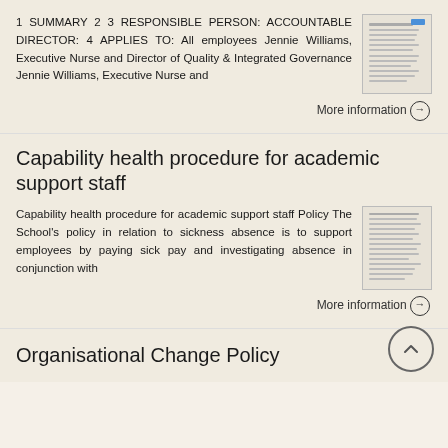1 SUMMARY 2 3 RESPONSIBLE PERSON: ACCOUNTABLE DIRECTOR: 4 APPLIES TO: All employees Jennie Williams, Executive Nurse and Director of Quality & Integrated Governance Jennie Williams, Executive Nurse and
[Figure (screenshot): Thumbnail of a document page with text lines]
More information →
Capability health procedure for academic support staff
Capability health procedure for academic support staff Policy The School's policy in relation to sickness absence is to support employees by paying sick pay and investigating absence in conjunction with
[Figure (screenshot): Thumbnail of a document page with text lines]
More information →
Organisational Change Policy